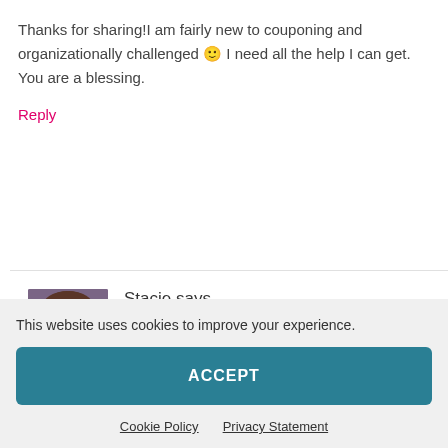Thanks for sharing!I am fairly new to couponing and organizationally challenged 🙂 I need all the help I can get. You are a blessing.
Reply
Stacie says
January 29 at 1:17 pm
This website uses cookies to improve your experience.
ACCEPT
Cookie Policy
Privacy Statement